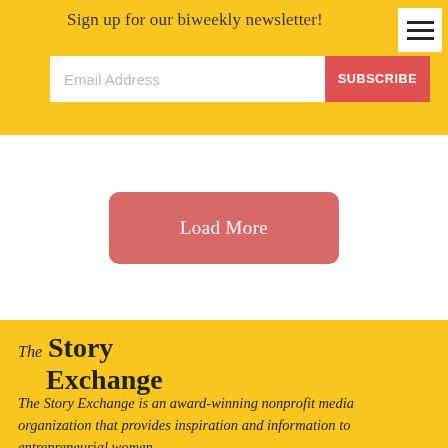Sign up for our biweekly newsletter!
[Figure (screenshot): Email address input field with Subscribe button]
Load More
[Figure (logo): The Story Exchange logo in serif font]
The Story Exchange is an award-winning nonprofit media organization that provides inspiration and information to entrepreneurial women.